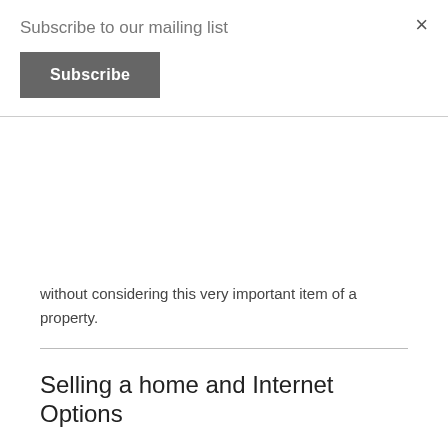Subscribe to our mailing list
Subscribe
without considering this very important item of a property.
Selling a home and Internet Options
If are considering selling your home, what should you do concerning your Internet Service.
First, you should fully disclose what Internet Service provider you had previous configured and why.   Buyers should demand this and you should be ready to answer